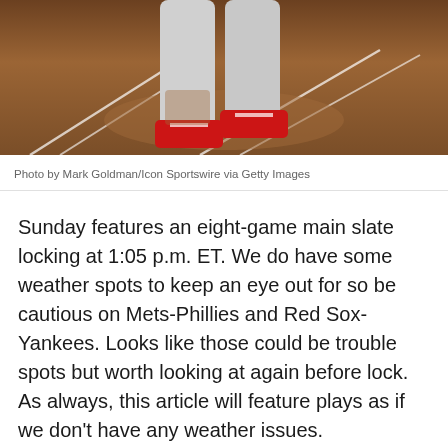[Figure (photo): Baseball player at bat, close-up of lower body showing legs and cleats on a dirt field with white chalk lines]
Photo by Mark Goldman/Icon Sportswire via Getty Images
Sunday features an eight-game main slate locking at 1:05 p.m. ET. We do have some weather spots to keep an eye out for so be cautious on Mets-Phillies and Red Sox-Yankees. Looks like those could be trouble spots but worth looking at again before lock. As always, this article will feature plays as if we don't have any weather issues.